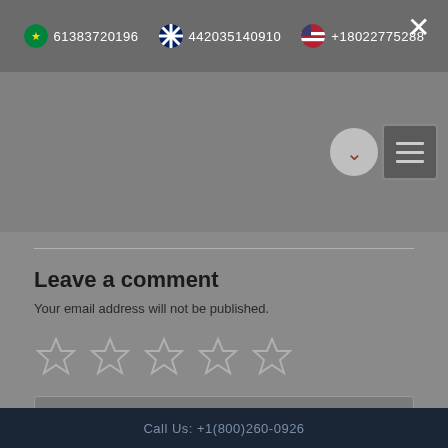61383720196   442035140910   +18022775288
Leave a comment
Your email address will not be published.
[Figure (other): Five empty star rating icons in a row]
Your Name
Your Email
Write your comment here
Call Us: +1(800)260-0926